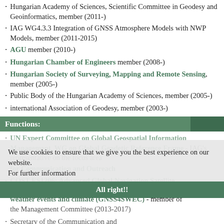Hungarian Academy of Sciences, Scientific Committee in Geodesy and Geoinformatics, member (2011-)
IAG WG4.3.3 Integration of GNSS Atmosphere Models with NWP Models, member (2011-2015)
AGU member (2010-)
Hungarian Chamber of Engineers member (2008-)
Hungarian Society of Surveying, Mapping and Remote Sensing, member (2005-)
Public Body of the Hungarian Academy of Sciences, member (2005-)
international Association of Geodesy, member (2003-)
Functions:
UN Expert Committee on Global Geospatial Information Management, WG on Global Geodetic Reference Frame - IAG's representative on the focus area for Communication and Outreach
COST ES1206: Advanced Global Navigation Satellite Systems tropospheric products for monitoring severe weather events and climate (GNSS4SWEC) - member of the Management Committee (2013-2017)
Secretary of the Communication and Outreach Panel of the International Association of Geodesy
We use cookies to ensure that we give you the best experience on our website. For further information
All right!!